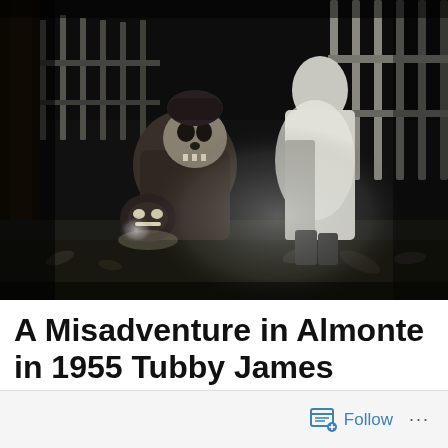[Figure (photo): Black and white vintage photograph (circa 1955) showing two children in Halloween costumes at night. One child crouches wearing a monster/skull mask and holds a glowing jack-o'-lantern. The other child stands wearing a light-colored costume or ghost outfit. A wooden picket fence and tree are visible in the background.]
A Misadventure in Almonte in 1955 Tubby James
Follow ...